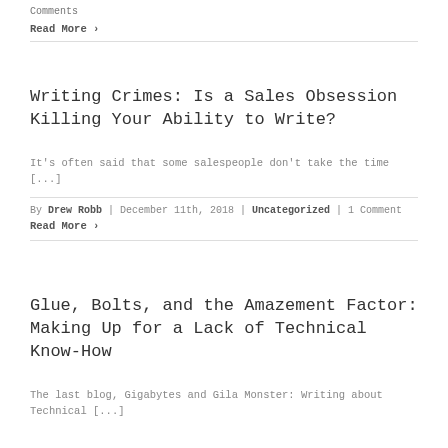Comments
Read More >
Writing Crimes: Is a Sales Obsession Killing Your Ability to Write?
It's often said that some salespeople don't take the time [...]
By Drew Robb | December 11th, 2018 | Uncategorized | 1 Comment
Read More >
Glue, Bolts, and the Amazement Factor: Making Up for a Lack of Technical Know-How
The last blog, Gigabytes and Gila Monster: Writing about Technical [...]